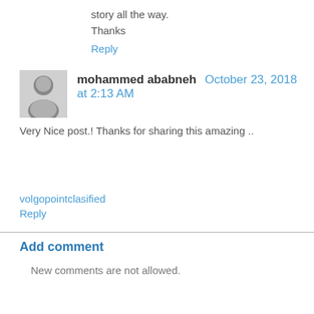story all the way.
Thanks
Reply
mohammed ababneh October 23, 2018 at 2:13 AM
Very Nice post.! Thanks for sharing this amazing ..
volgopointclasified
Reply
Add comment
New comments are not allowed.